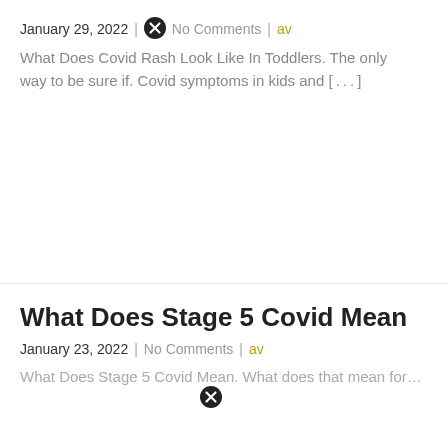January 29, 2022 | No Comments | av
What Does Covid Rash Look Like In Toddlers. The only way to be sure if. Covid symptoms in kids and [...]
What Does Stage 5 Covid Mean
January 23, 2022 | No Comments | av
What Does Stage 5 Covid Mean. What does that mean for...